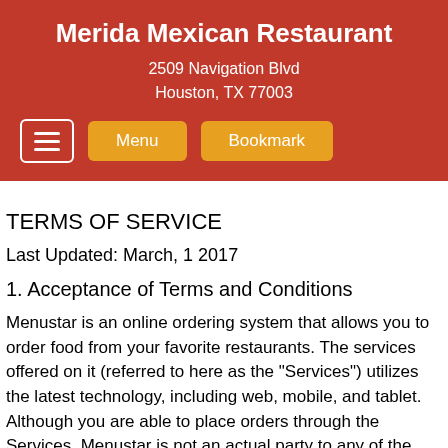Merida Mexican Restaurant
2509 Navigation Blvd
Houston, TX 77003
TERMS OF SERVICE
Last Updated: March, 1 2017
1. Acceptance of Terms and Conditions
Menustar is an online ordering system that allows you to order food from your favorite restaurants. The services offered on it (referred to here as the "Services") utilizes the latest technology, including web, mobile, and tablet. Although you are able to place orders through the Services, Menustar is not an actual party to any of the transactions. Your order is between you and the restaurant you order placed the order with. Should you have any questions or concerns about the ingredients used in preparation of any food, we